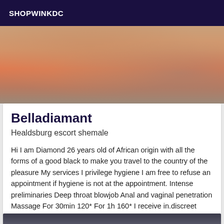SHOPWINKDC
[Figure (photo): Partial photo of a person, cropped, warm skin tones with orange and grey background elements]
Belladiamant
Healdsburg escort shemale
Hi I am Diamond 26 years old of African origin with all the forms of a good black to make you travel to the country of the pleasure My services I privilege hygiene I am free to refuse an appointment if hygiene is not at the appointment. Intense preliminaries Deep throat blowjob Anal and vaginal penetration Massage For 30min 120* For 1h 160* I receive in.discreet apartment in the city of Noyelle godault 20min from Healdsburg 15min from Healdsburg and 9 min from Healdsburg Looking forward to seeing you
[Figure (photo): Bottom partial photo, dark tones, partially visible]